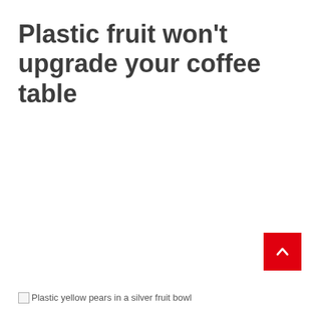Plastic fruit won't upgrade your coffee table
[Figure (illustration): Broken image placeholder with alt text: Plastic yellow pears in a silver fruit bowl]
Plastic yellow pears in a silver fruit bowl